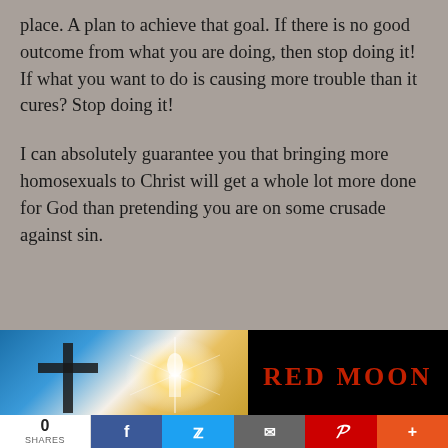place. A plan to achieve that goal. If there is no good outcome from what you are doing, then stop doing it! If what you want to do is causing more trouble than it cures? Stop doing it!
I can absolutely guarantee you that bringing more homosexuals to Christ will get a whole lot more done for God than pretending you are on some crusade against sin.
[Figure (illustration): Banner image with two panels: left panel shows crosses and a glowing light figure on a blue/gold background; right panel shows 'RED MOON' text in red on black background]
0 SHARES | Facebook | Twitter | Email | Pinterest | More